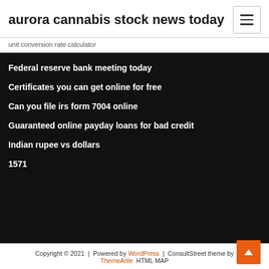aurora cannabis stock news today
unit conversion rate calculator
Federal reserve bank meeting today
Certificates you can get online for free
Can you file irs form 7004 online
Guaranteed online payday loans for bad credit
Indian rupee vs dollars
1571
Copyright © 2021 | Powered by WordPress | ConsultStreet theme by ThemeArile HTML MAP